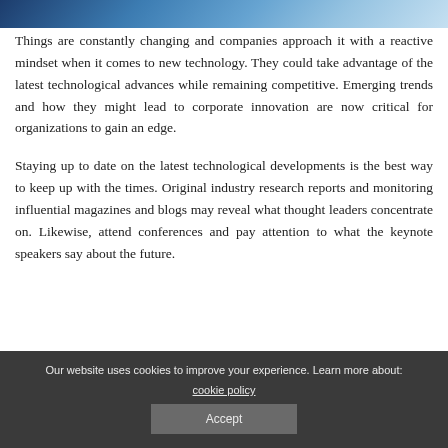[Figure (photo): Partial image strip at top of page showing a technology/business themed photo with blue tones]
Things are constantly changing and companies approach it with a reactive mindset when it comes to new technology. They could take advantage of the latest technological advances while remaining competitive. Emerging trends and how they might lead to corporate innovation are now critical for organizations to gain an edge.
Staying up to date on the latest technological developments is the best way to keep up with the times. Original industry research reports and monitoring influential magazines and blogs may reveal what thought leaders concentrate on. Likewise, attend conferences and pay attention to what the keynote speakers say about the future.
Our website uses cookies to improve your experience. Learn more about: cookie policy
Accept